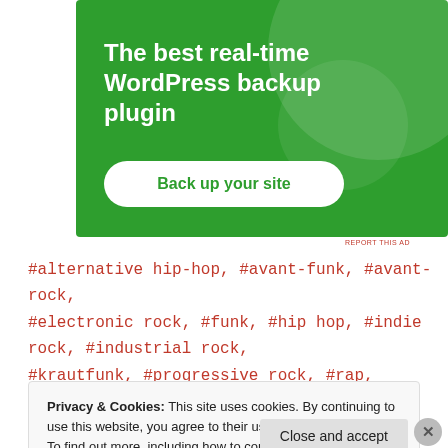[Figure (screenshot): Green advertisement banner for WordPress backup plugin with title 'The best real-time WordPress backup plugin' and a 'Back up your site' button]
REPORT THIS AD
#alternative hip-hop, #avant-funk, #avant-rock, #electronic rock, #funk, #hip hop, #indie rock, #industrial rock, #krautfunk, #progressive rock, #rap, #rock,
Privacy & Cookies: This site uses cookies. By continuing to use this website, you agree to their use. To find out more, including how to control cookies, see here: Cookie Policy
Close and accept